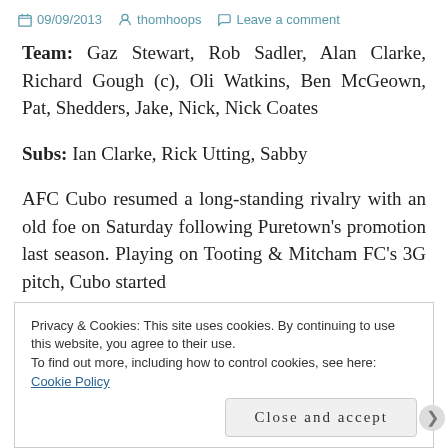09/09/2013  thomhoops  Leave a comment
Team: Gaz Stewart, Rob Sadler, Alan Clarke, Richard Gough (c), Oli Watkins, Ben McGeown, Pat, Shedders, Jake, Nick, Nick Coates
Subs: Ian Clarke, Rick Utting, Sabby
AFC Cubo resumed a long-standing rivalry with an old foe on Saturday following Puretown's promotion last season. Playing on Tooting & Mitcham FC's 3G pitch, Cubo started
Privacy & Cookies: This site uses cookies. By continuing to use this website, you agree to their use.
To find out more, including how to control cookies, see here: Cookie Policy
Close and accept